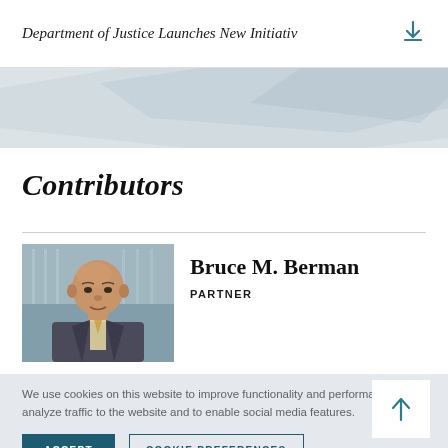Department of Justice Launches New Initiativ
[Figure (illustration): Decorative geometric banner with light blue/gray diagonal shapes on a white-to-light background]
Contributors
[Figure (photo): Professional headshot of Bruce M. Berman, an older bald man in a dark suit with a light tie, against a blurred office building background]
Bruce M. Berman
PARTNER
We use cookies on this website to improve functionality and performance, to analyze traffic to the website and to enable social media features.